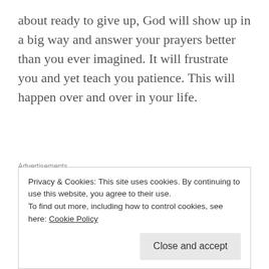about ready to give up, God will show up in a big way and answer your prayers better than you ever imagined. It will frustrate you and yet teach you patience. This will happen over and over in your life.
[Figure (other): Advertisements banner — red horizontal bar with partial dark image overlay on right side]
3. Failure is inevitable. Accept forgiveness. One day you will do something you never thought you were capable of doing. You will fail your God, yourself and
Privacy & Cookies: This site uses cookies. By continuing to use this website, you agree to their use.
To find out more, including how to control cookies, see here: Cookie Policy
Close and accept
so that you can forgive yourself. You will need to walk in